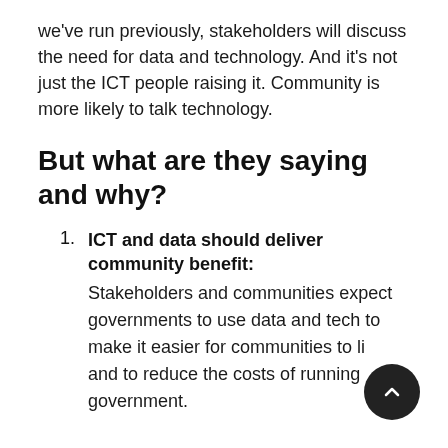we've run previously, stakeholders will discuss the need for data and technology. And it's not just the ICT people raising it. Community is more likely to talk technology.
But what are they saying and why?
ICT and data should deliver community benefit: Stakeholders and communities expect governments to use data and tech to make it easier for communities to li[ve] and to reduce the costs of running government.